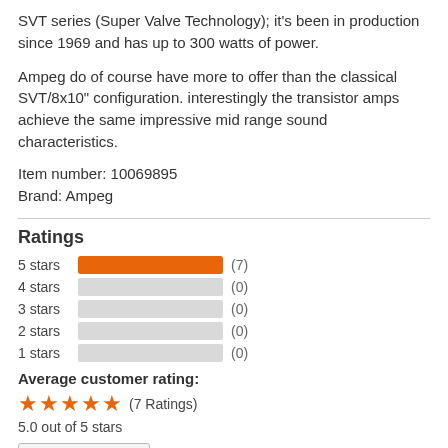SVT series (Super Valve Technology); it's been in production since 1969 and has up to 300 watts of power.
Ampeg do of course have more to offer than the classical SVT/8x10” configuration. interestingly the transistor amps achieve the same impressive mid range sound characteristics.
Item number: 10069895
Brand: Ampeg
Ratings
[Figure (bar-chart): Ratings]
Average customer rating:
★★★★★ (7 Ratings)
5.0 out of 5 stars